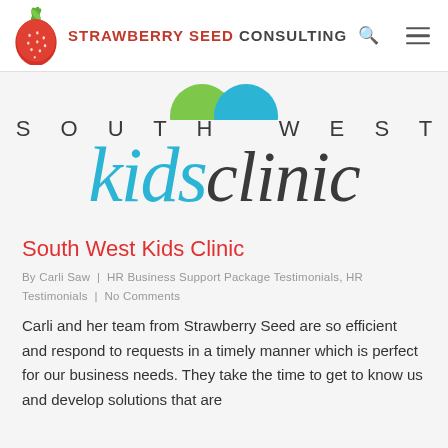STRAWBERRY SEED CONSULTING
[Figure (logo): South West Kids Clinic logo with two partial circles (green and blue) above 'SOUTH WEST' in spaced capitals and 'kids clinic' in large italic script, 'kids' in blue and 'clinic' in dark grey]
South West Kids Clinic
By Carli Saw | HR Business Support Package Testimonials, HR Testimonials | No Comments
Carli and her team from Strawberry Seed are so efficient and respond to requests in a timely manner which is perfect for our business needs. They take the time to get to know us and develop solutions that are